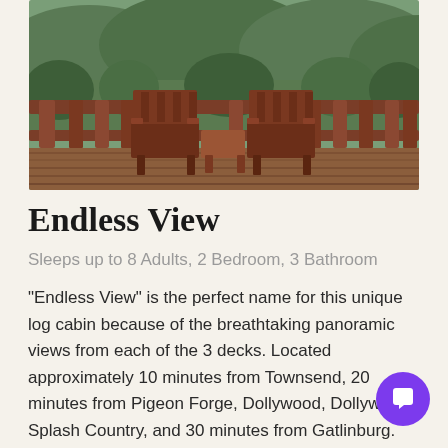[Figure (photo): Photo of a cabin deck/porch with wooden rocking chairs and railing, with green mountain/forest views in the background]
Endless View
Sleeps up to 8 Adults, 2 Bedroom, 3 Bathroom
"Endless View" is the perfect name for this unique log cabin because of the breathtaking panoramic views from each of the 3 decks. Located approximately 10 minutes from Townsend, 20 minutes from Pigeon Forge, Dollywood, Dollywood Splash Country, and 30 minutes from Gatlinburg. The roads are paved all the way to the cabin with some curves at times and inclines to reach the cabin and would be considered motorcycle friendly only at the rider's discretion and has parking for 2 vehicles. This 2 bedroom 3 bathroom cabin is 3 levels and will sleep 8. Each level offers its